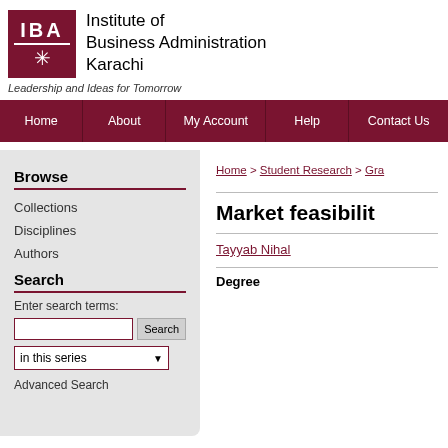[Figure (logo): IBA Karachi logo: dark red square with IBA text and star/compass design]
Institute of Business Administration Karachi
Leadership and Ideas for Tomorrow
Home | About | My Account | Help | Contact Us
Browse
Collections
Disciplines
Authors
Search
Enter search terms:
in this series
Advanced Search
Home > Student Research > Gra
Market feasibilit
Tayyab Nihal
Degree